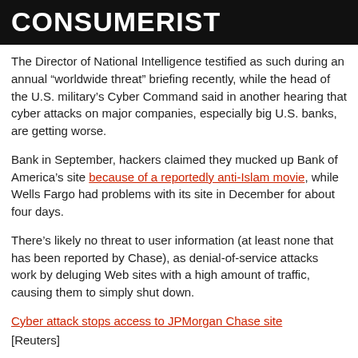CONSUMERIST
The Director of National Intelligence testified as such during an annual “worldwide threat” briefing recently, while the head of the U.S. military’s Cyber Command said in another hearing that cyber attacks on major companies, especially big U.S. banks, are getting worse.
Bank in September, hackers claimed they mucked up Bank of America’s site because of a reportedly anti-Islam movie, while Wells Fargo had problems with its site in December for about four days.
There’s likely no threat to user information (at least none that has been reported by Chase), as denial-of-service attacks work by deluging Web sites with a high amount of traffic, causing them to simply shut down.
Cyber attack stops access to JPMorgan Chase site
[Reuters]